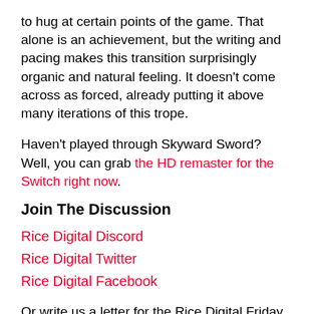to hug at certain points of the game. That alone is an achievement, but the writing and pacing makes this transition surprisingly organic and natural feeling. It doesn't come across as forced, already putting it above many iterations of this trope.
Haven't played through Skyward Sword? Well, you can grab the HD remaster for the Switch right now.
Join The Discussion
Rice Digital Discord
Rice Digital Twitter
Rice Digital Facebook
Or write us a letter for the Rice Digital Friday Letters Page by clicking here!
Disclosure: Some links in this article may be affiliate links, which means we